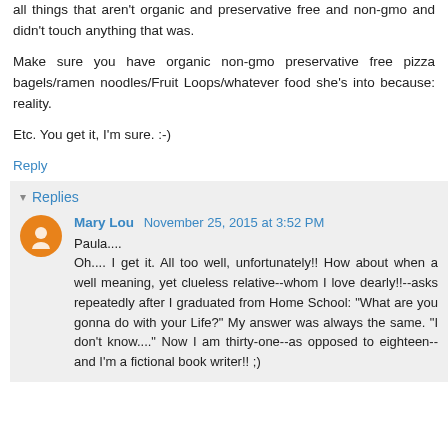all things that aren't organic and preservative free and non-gmo and didn't touch anything that was.
Make sure you have organic non-gmo preservative free pizza bagels/ramen noodles/Fruit Loops/whatever food she's into because: reality.
Etc. You get it, I'm sure. :-)
Reply
Replies
Mary Lou  November 25, 2015 at 3:52 PM
Paula....
Oh.... I get it. All too well, unfortunately!! How about when a well meaning, yet clueless relative--whom I love dearly!!--asks repeatedly after I graduated from Home School: "What are you gonna do with your Life?" My answer was always the same. "I don't know...." Now I am thirty-one--as opposed to eighteen--and I'm a fictional book writer!! ;)